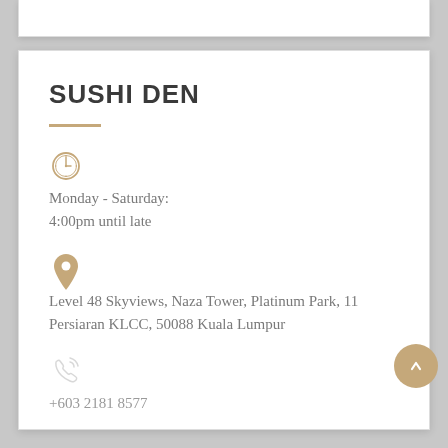SUSHI DEN
Monday - Saturday:
4:00pm until late
Level 48 Skyviews, Naza Tower, Platinum Park, 11 Persiaran KLCC, 50088 Kuala Lumpur
+603 2181 8577